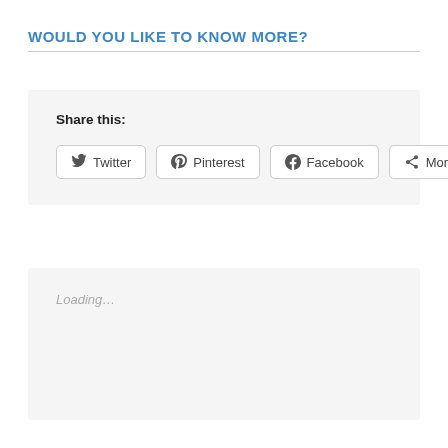WOULD YOU LIKE TO KNOW MORE?
Share this:
[Figure (screenshot): Social share buttons row with Twitter, Pinterest, Facebook, and More buttons with icons]
Loading...